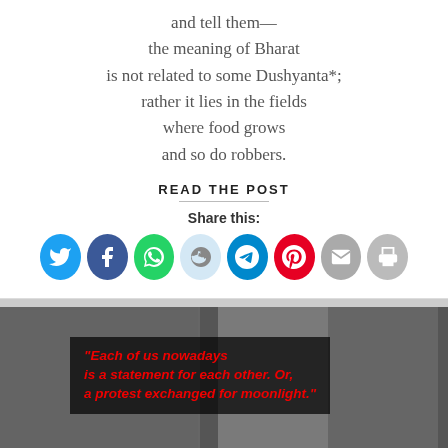and tell them—
the meaning of Bharat
is not related to some Dushyanta*;
rather it lies in the fields
where food grows
and so do robbers.
READ THE POST
Share this:
[Figure (illustration): Social media share buttons row: Twitter (blue), Facebook (blue), WhatsApp (green), Reddit (light blue), Telegram (blue), Pinterest (red), Email (grey), Print (grey)]
[Figure (photo): Black and white image with a quote overlay in red italic text on dark background: "Each of us nowadays is a statement for each other. Or, a protest exchanged for moonlight."]